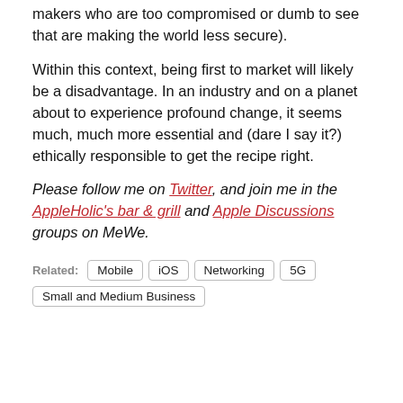makers who are too compromised or dumb to see that are making the world less secure).
Within this context, being first to market will likely be a disadvantage. In an industry and on a planet about to experience profound change, it seems much, much more essential and (dare I say it?) ethically responsible to get the recipe right.
Please follow me on Twitter, and join me in the AppleHolic's bar & grill and Apple Discussions groups on MeWe.
Related: Mobile iOS Networking 5G Small and Medium Business